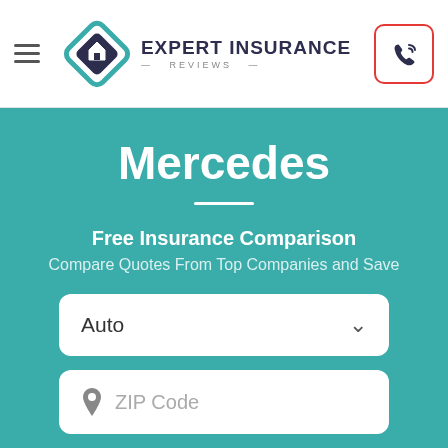Expert Insurance Reviews
Mercedes
Free Insurance Comparison
Compare Quotes From Top Companies and Save
Auto
ZIP Code